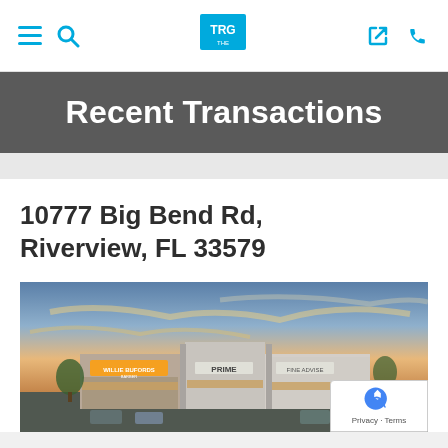TRG navigation bar with hamburger menu, search, TRG logo, location arrow, and phone icons
Recent Transactions
10777 Big Bend Rd, Riverview, FL 33579
[Figure (photo): Exterior photo of a retail strip mall at dusk with dramatic orange and blue sky. Visible tenants include Willie Bufords Barber and Prime and Fine services. Building features stone and stucco facade with awnings.]